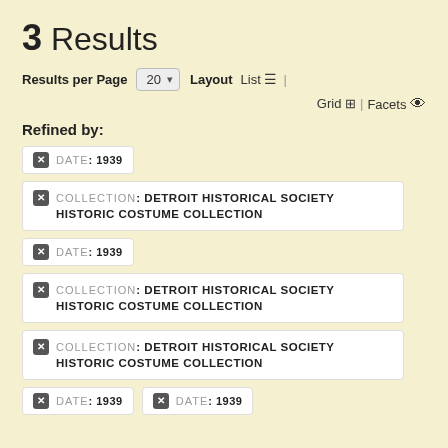3 Results
Results per Page 20 ▾   Layout  List ≡ | Grid ⊞ | Facets 👁
Refined by:
✕ DATE: 1939
✕ COLLECTION: DETROIT HISTORICAL SOCIETY HISTORIC COSTUME COLLECTION
✕ DATE: 1939
✕ COLLECTION: DETROIT HISTORICAL SOCIETY HISTORIC COSTUME COLLECTION
✕ COLLECTION: DETROIT HISTORICAL SOCIETY HISTORIC COSTUME COLLECTION
✕ DATE: 1939   ✕ DATE: 1939